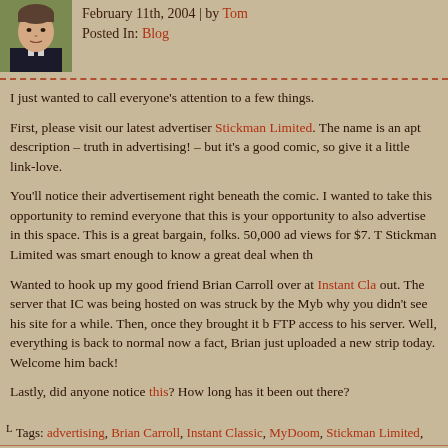[Figure (photo): Avatar photo of a young man with short hair wearing a dark top, green-tinted background]
February 11th, 2004 | by Tom
Posted In: Blog
I just wanted to call everyone's attention to a few things.
First, please visit our latest advertiser Stickman Limited. The name is an apt description – truth in advertising! – but it's a good comic, so give it a little link-love.
You'll notice their advertisement right beneath the comic. I wanted to take this opportunity to remind everyone that this is your opportunity to also advertise in this space. This is a great bargain, folks. 50,000 ad views for $7. Th... Stickman Limited was smart enough to know a great deal when th...
Wanted to hook up my good friend Brian Carroll over at Instant Cla... out. The server that IC was being hosted on was struck by the My... why you didn't see his site for a while. Then, once they brought it b... FTP access to his server. Well, everything is back to normal now a... fact, Brian just uploaded a new strip today. Welcome him back!
Lastly, did anyone notice this? How long has it been out there?
Tags: advertising, Brian Carroll, Instant Classic, MyDoom, Stickman Limited,
Related Posts ¬
Jan 11, 2010 | TRAFFIC